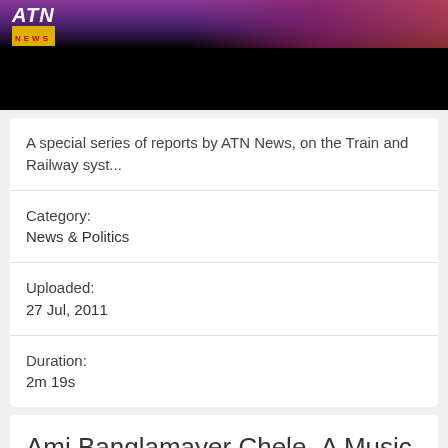[Figure (screenshot): ATN News logo on dark background, top portion of a video thumbnail]
A special series of reports by ATN News, on the Train and Railway syst...
Category:
News & Politics
Uploaded:
27 Jul, 2011
Duration:
2m 19s
Ami Banglamayer Chele- A Music Vedio Of Baul ...
[Figure (screenshot): Bottom portion of a video thumbnail showing green/outdoor scene]